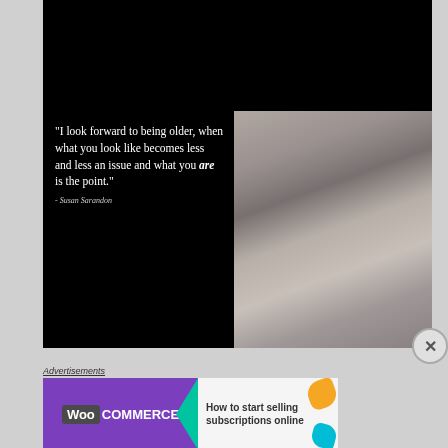[Figure (photo): Composite image with black background upper half, left panel with white serif quote text on black background reading: '"I look forward to being older, when what you look like becomes less and less an issue and what you are is the point."' with attribution '- Susan Sarandon', and right panel showing a black and white portrait photograph of a woman (Susan Sarandon) looking upward.]
Advertisements
[Figure (illustration): WooCommerce advertisement banner: purple background on left with WooCommerce logo and an arrow/chevron shape in teal pointing right, white/light background on right with text 'How to start selling subscriptions online', orange and teal decorative blobs on upper and lower right corners.]